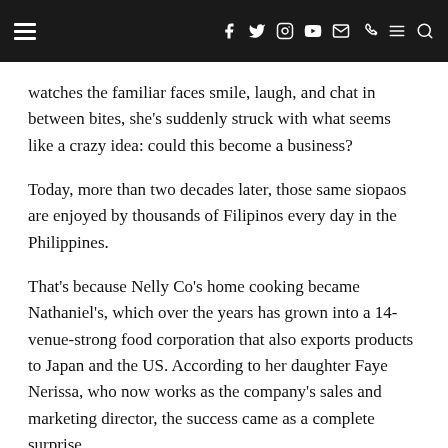Navigation header with hamburger menu and social icons
watches the familiar faces smile, laugh, and chat in between bites, she’s suddenly struck with what seems like a crazy idea: could this become a business?
Today, more than two decades later, those same siopaos are enjoyed by thousands of Filipinos every day in the Philippines.
That’s because Nelly Co’s home cooking became Nathaniel’s, which over the years has grown into a 14-venue-strong food corporation that also exports products to Japan and the US. According to her daughter Faye Nerissa, who now works as the company’s sales and marketing director, the success came as a complete surprise.
“My mum just dreamed of having another source of income, so that she could provide her children a better quality of life,” she says. “She never expected the business to become this big thing.”